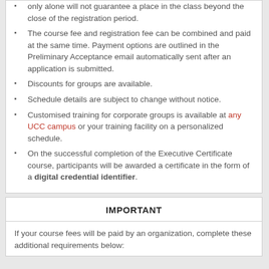only alone will not guarantee a place in the class beyond the close of the registration period.
The course fee and registration fee can be combined and paid at the same time. Payment options are outlined in the Preliminary Acceptance email automatically sent after an application is submitted.
Discounts for groups are available.
Schedule details are subject to change without notice.
Customised training for corporate groups is available at any UCC campus or your training facility on a personalized schedule.
On the successful completion of the Executive Certificate course, participants will be awarded a certificate in the form of a digital credential identifier.
IMPORTANT
If your course fees will be paid by an organization, complete these additional requirements below: